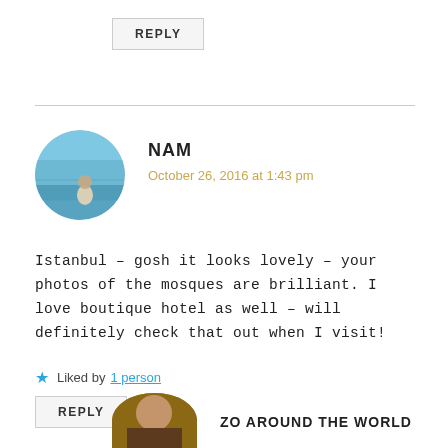REPLY
NAM
October 26, 2016 at 1:43 pm
Istanbul – gosh it looks lovely – your photos of the mosques are brilliant. I love boutique hotel as well – will definitely check that out when I visit!
Liked by 1 person
REPLY
ZO AROUND THE WORLD